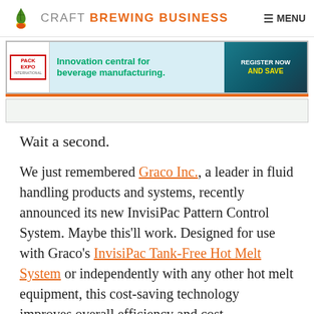CRAFT BREWING BUSINESS | MENU
[Figure (other): Pack Expo International advertisement banner: Innovation central for beverage manufacturing. Register Now and Save.]
Wait a second.
We just remembered Graco Inc., a leader in fluid handling products and systems, recently announced its new InvisiPac Pattern Control System. Maybe this’ll work. Designed for use with Graco’s InvisiPac Tank-Free Hot Melt System or independently with any other hot melt equipment, this cost-saving technology improves overall efficiency and cost-